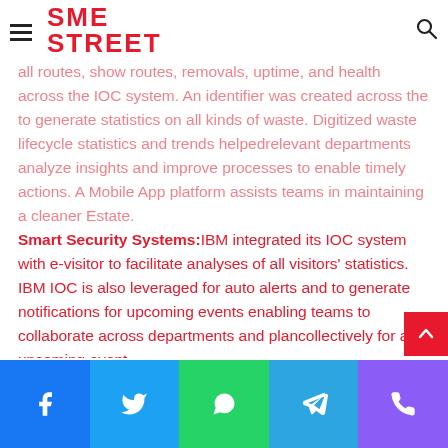SME Street
all routes, show routes, removals, uptime, and health across the IOC system. An identifier was created across the to integrate statistics on all kinds of waste. Digitized waste lifecycle statistics and trends helpedrelevant departments analyze insights and improve processes to enable timely actions. A Mobile App platform assists teams in maintaining a cleaner Estate.
Smart Security Systems: IBM integrated its IOC system with e-visitor to facilitate analyses of all visitors' statistics. IBM IOC is also leveraged for auto alerts and to generate notifications for upcoming events enabling teams to collaborate across departments and plancollectively for an upcoming event.
Facebook Twitter WhatsApp Telegram Phone